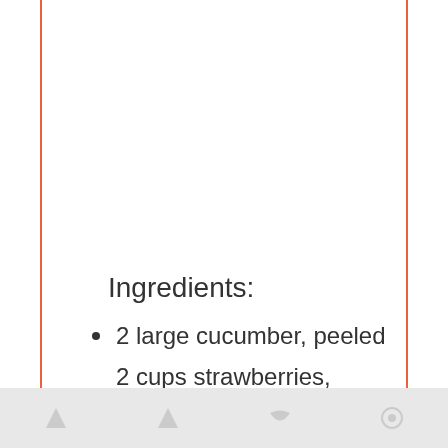Ingredients:
2 large cucumber, peeled
2 cups strawberries, sliced
1/2 medium onion, sliced
2 Tablespoons olive oil